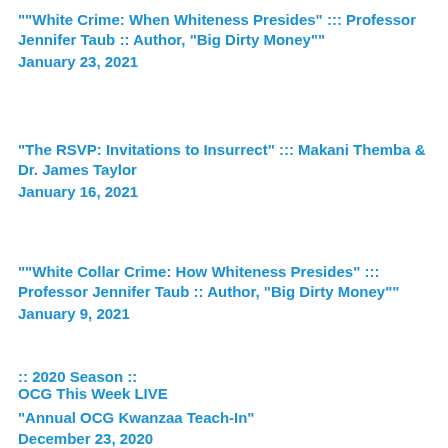""White Crime: When Whiteness Presides" ::: Professor Jennifer Taub :: Author, "Big Dirty Money""
January 23, 2021
"The RSVP: Invitations to Insurrect" ::: Makani Themba & Dr. James Taylor
January 16, 2021
""White Collar Crime: How Whiteness Presides" ::: Professor Jennifer Taub :: Author, "Big Dirty Money""
January 9, 2021
:: 2020 Season ::
OCG This Week LIVE
"Annual OCG Kwanzaa Teach-In"
December 23, 2020